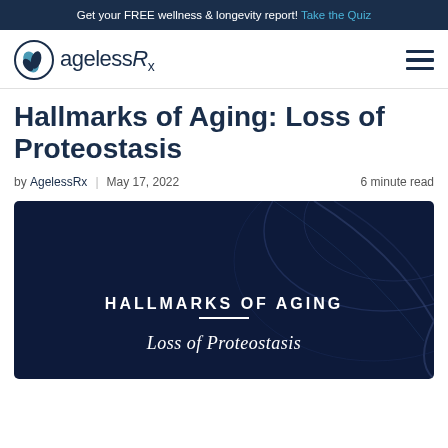Get your FREE wellness & longevity report! Take the Quiz
[Figure (logo): AgelessRx logo with leaf/water drop icon in teal and navy blue circle]
Hallmarks of Aging: Loss of Proteostasis
by AgelessRx | May 17, 2022   6 minute read
[Figure (illustration): Dark navy blue hero image with abstract biological/DNA background. Text overlay reads: HALLMARKS OF AGING (bold, uppercase) with a white divider line and 'Loss of Proteostasis' in italic serif text below.]